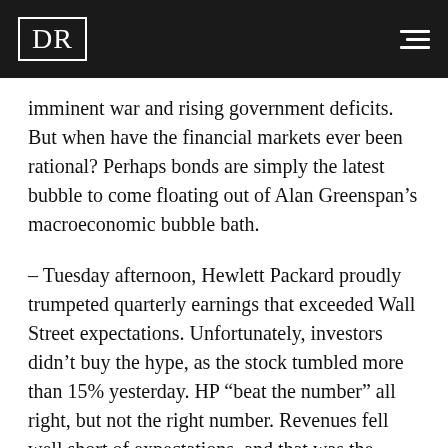DR
imminent war and rising government deficits. But when have the financial markets ever been rational? Perhaps bonds are simply the latest bubble to come floating out of Alan Greenspan’s macroeconomic bubble bath.
– Tuesday afternoon, Hewlett Packard proudly trumpeted quarterly earnings that exceeded Wall Street expectations. Unfortunately, investors didn’t buy the hype, as the stock tumbled more than 15% yesterday. HP “beat the number” all right, but not the right number. Revenues fell well short of expectations, and that was the number that mattered most to investors.